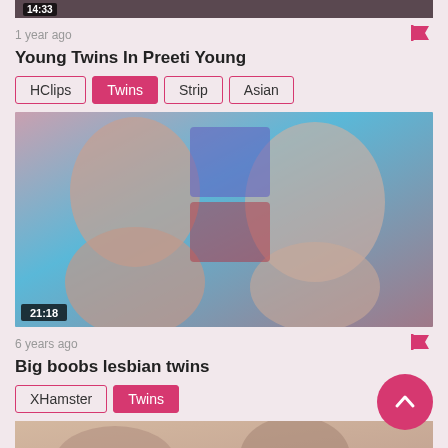[Figure (screenshot): Video thumbnail top partial, dark background, timestamp 14:33]
1 year ago
Young Twins In Preeti Young
HClips
Twins
Strip
Asian
[Figure (screenshot): Video thumbnail showing two women, timestamp 21:18]
6 years ago
Big boobs lesbian twins
XHamster
Twins
[Figure (screenshot): Partial video thumbnail at bottom of page]